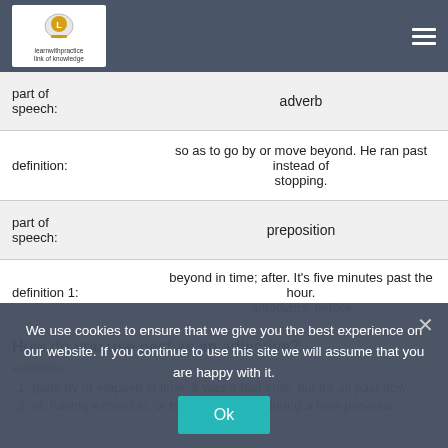learnwithpractice | link of knowledge
| label | value |
| --- | --- |
| part of speech: | adverb |
| definition: | so as to go by or move beyond. He ran past instead of stopping. |
| part of speech: | preposition |
| definition 1: | beyond in time; after. It's five minutes past the hour.
antonyms: before |
How do you use past as an adjective?
adjective.
gone by or elapsed in time: It was a bad time, but it's all past now.
of, having existed in, or having occurred during a time previous...
We use cookies to ensure that we give you the best experience on our website. If you continue to use this site we will assume that you are happy with it.
Ok